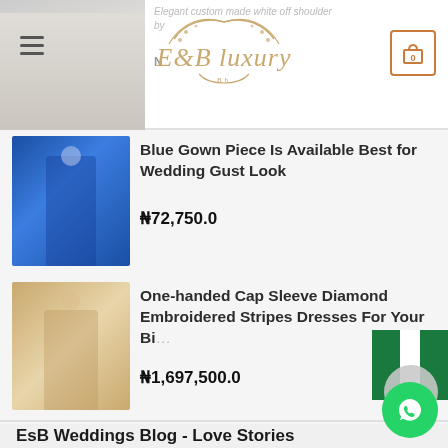E&B Luxury — cart: 0
[Figure (photo): Blue gown dress thumbnail showing woman in blue one-shoulder gown]
Blue Gown Piece Is Available Best for Wedding Gust Look
₦72,750.0
[Figure (photo): Gold/beige diamond embroidered cap sleeve dress thumbnail]
One-handed Cap Sleeve Diamond Embroidered Stripes Dresses For Your Bi…
₦1,697,500.0
EsB Weddings Blog - Love Stories
[Figure (photo): Couple embracing in a warm-toned romantic photo, date badge shows 31 May]